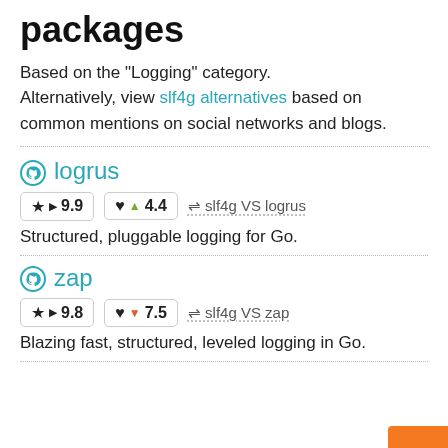packages
Based on the "Logging" category. Alternatively, view slf4g alternatives based on common mentions on social networks and blogs.
logrus
★ ▶ 9.9   ♥ ▲ 4.4   ⇌ slf4g VS logrus
Structured, pluggable logging for Go.
zap
★ ▶ 9.8   ♥ ▼ 7.5   ⇌ slf4g VS zap
Blazing fast, structured, leveled logging in Go.